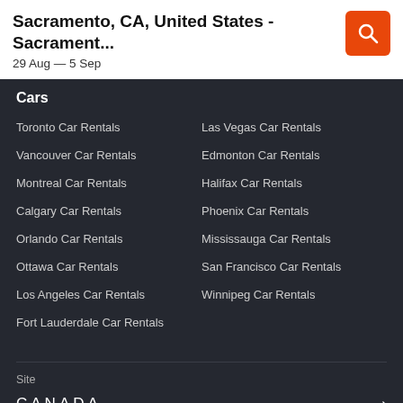Sacramento, CA, United States - Sacramento...
29 Aug — 5 Sep
Cars
Toronto Car Rentals
Vancouver Car Rentals
Montreal Car Rentals
Calgary Car Rentals
Orlando Car Rentals
Ottawa Car Rentals
Los Angeles Car Rentals
Fort Lauderdale Car Rentals
Las Vegas Car Rentals
Edmonton Car Rentals
Halifax Car Rentals
Phoenix Car Rentals
Mississauga Car Rentals
San Francisco Car Rentals
Winnipeg Car Rentals
Site
CANADA